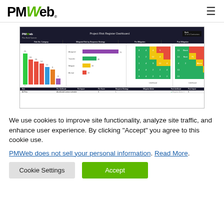PMWeb (logo) — navigation header with hamburger menu
[Figure (screenshot): Screenshot of PMWeb Project Risk Register Dashboard showing bar charts, heat maps for Pre-Mitigation and Post-Mitigation risk matrices, and a risk register table at the bottom.]
We use cookies to improve site functionality, analyze site traffic, and enhance user experience. By clicking "Accept" you agree to this cookie use.
PMWweb does not sell your personal information. Read More.
Cookie Settings
Accept